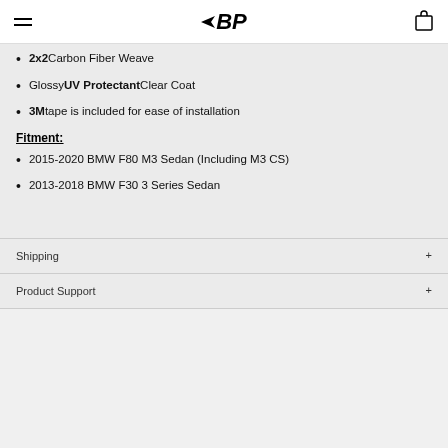BP (logo)
2x2 Carbon Fiber Weave
Glossy UV Protectant Clear Coat
3M tape is included for ease of installation
Fitment:
2015-2020 BMW F80 M3 Sedan (Including M3 CS)
2013-2018 BMW F30 3 Series Sedan
Shipping
Product Support